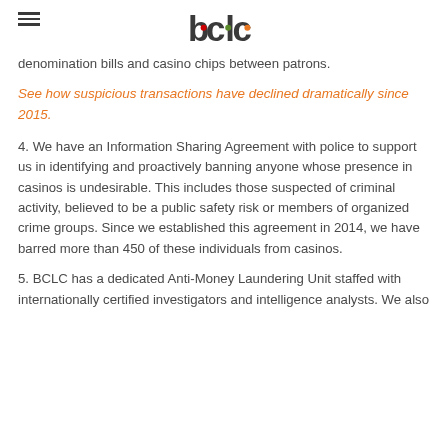bclc
denomination bills and casino chips between patrons.
See how suspicious transactions have declined dramatically since 2015.
4. We have an Information Sharing Agreement with police to support us in identifying and proactively banning anyone whose presence in casinos is undesirable. This includes those suspected of criminal activity, believed to be a public safety risk or members of organized crime groups. Since we established this agreement in 2014, we have barred more than 450 of these individuals from casinos.
5. BCLC has a dedicated Anti-Money Laundering Unit staffed with internationally certified investigators and intelligence analysts. We also